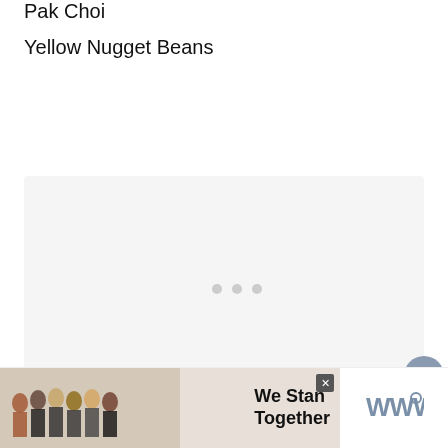Pak Choi
Yellow Nugget Beans
[Figure (other): Gray loading/placeholder content area with three dots in the center, and UI buttons (heart/favorite and share) on the right side, plus a 'What's Next' card showing Feta + Veggie Pasta Salad]
[Figure (other): Advertisement banner showing people standing together with text 'We Stand Together' and a logo on the right]